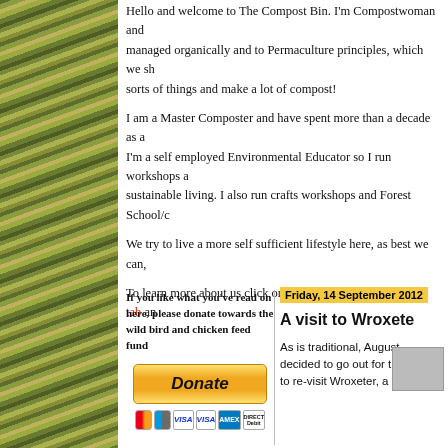[Figure (photo): Left sidebar photo strip showing dried grasses and plants with green and golden hues]
Hello and welcome to The Compost Bin. I'm Compostwoman and managed organically and to Permaculture principles, which we sh sorts of things and make a lot of compost!
I am a Master Composter and have spent more than a decade as a I'm a self employed Environmental Educator so I run workshops a sustainable living. I also run crafts workshops and Forest School/c
We try to live a more self sufficient lifestyle here, as best we can,
To learn more about us click on the About Compostwoman tab an
If you like what you've read on here, please donate towards the wild bird and chicken feed fund
[Figure (other): PayPal Donate button in gold/yellow with payment card logos below (Mastercard, Maestro, Visa, Visa, Amex, Direct Debit)]
Friday, 14 September 2012
A visit to Wroxete
As is traditional, August decided to go out for the to re-visit Wroxeter, a R